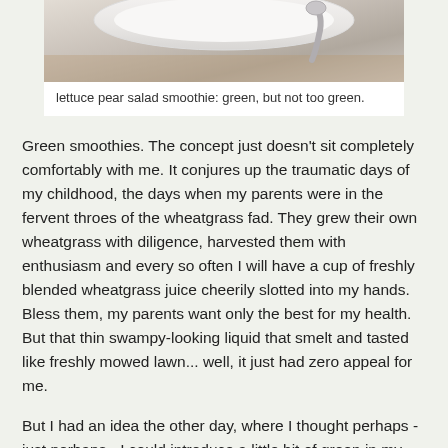[Figure (photo): Close-up photo of a white bowl or cup with a spoon, on a wooden surface, partially cropped at top]
lettuce pear salad smoothie: green, but not too green.
Green smoothies. The concept just doesn't sit completely comfortably with me. It conjures up the traumatic days of my childhood, the days when my parents were in the fervent throes of the wheatgrass fad. They grew their own wheatgrass with diligence, harvested them with enthusiasm and every so often I will have a cup of freshly blended wheatgrass juice cheerily slotted into my hands. Bless them, my parents want only the best for my health. But that thin swampy-looking liquid that smelt and tasted like freshly mowed lawn... well, it just had zero appeal for me.
But I had an idea the other day, where I thought perhaps - just perhaps - I could introduce a little bit of green in my smoothies. Not dark green. Not even medium green. But just a little pale green - we are, after all, talking baby steps here - in the form of lettuce. I thought that could be alright. And I'm glad to report that it was... better than alright, actually. So it's